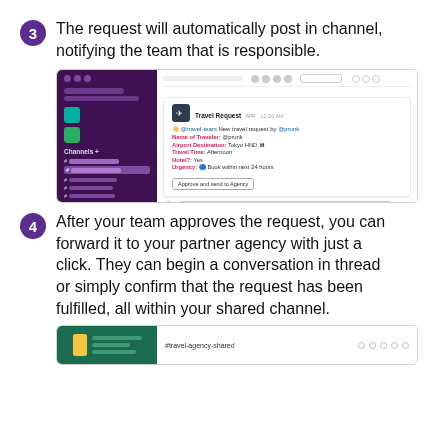3 The request will automatically post in channel, notifying the team that is responsible.
[Figure (screenshot): Screenshot of a Slack interface showing a travel request message posted in a channel. The left sidebar shows a dark purple channel list. The main area shows a message from 'Travel Request' bot with fields: Name of Traveler: @prunk, Airport Destination: Tokyo HND, Travel Time: Afternoon, Hotel: Yes, Urgency: Book within next 24 hours, and an 'Approve and send to Agency' button.]
4 After your team approves the request, you can forward it to your partner agency with just a click. They can begin a conversation in thread or simply confirm that the request has been fulfilled, all within your shared channel.
[Figure (screenshot): Partial screenshot showing a green-themed Slack shared channel named #travel-agency-shared.]